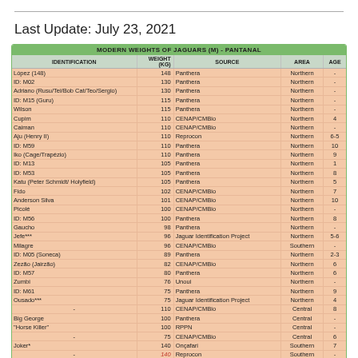Last Update: July 23, 2021
| IDENTIFICATION | WEIGHT (KG) | SOURCE | AREA | AGE |
| --- | --- | --- | --- | --- |
| López (148) | 148 | Panthera | Northern | - |
| ID: M02 | 130 | Panthera | Northern | - |
| Adriano (Rusu/Tei/Bob Cat/Teo/Sergio) | 130 | Panthera | Northern | - |
| ID: M15 (Guru) | 115 | Panthera | Northern | - |
| Wilson | 115 | Panthera | Northern | - |
| Cupim | 110 | CENAP/CMBio | Northern | 4 |
| Caiman | 110 | CENAP/CMBio | Northern | - |
| Aju (Henry II) | 110 | Reprocon | Northern | 6-5 |
| ID: M59 | 110 | Panthera | Northern | 10 |
| Iko (Cage/Trapézio) | 110 | Panthera | Northern | 9 |
| ID: M13 | 105 | Panthera | Northern | 1 |
| ID: M53 | 105 | Panthera | Northern | 8 |
| Katu (Peter Schmidt/ Holyfield) | 105 | Panthera | Northern | 5 |
| Fido | 102 | CENAP/CMBio | Northern | 7 |
| Anderson Silva | 101 | CENAP/CMBio | Northern | 10 |
| Picolé | 100 | CENAP/CMBio | Northern | - |
| ID: M56 | 100 | Panthera | Northern | 8 |
| Gaucho | 98 | Panthera | Northern | - |
| Jefe*** | 96 | Jaguar Identification Project | Northern | 5-6 |
| Milagre | 96 | CENAP/CMBio | Southern | - |
| ID: M05 (Soneca) | 89 | Panthera | Northern | 2-3 |
| Zezão (Jairzão) | 82 | CENAP/CMBio | Northern | 6 |
| ID: M57 | 80 | Panthera | Northern | 6 |
| Zumbi | 76 | Unoui | Northern | - |
| ID: M61 | 75 | Panthera | Northern | 9 |
| Ousado*** | 75 | Jaguar Identification Project | Northern | 4 |
| - | 110 | CENAP/CMBio | Central | 8 |
| Big George | 100 | Panthera | Central | - |
| "Horse Killer" | 100 | RPPN | Central | - |
| - | 75 | CENAP/CMBio | Central | 6 |
| Joker* | 140 | Onçafari | Southern | 7 |
| - | 140 | Reprocon | Southern | - |
| Robusto | 137 | Onçafari | Southern | 6 |
| Matheus (Manco/MM)**** | 134 | Onças do Rio Negro | Southern | 4 |